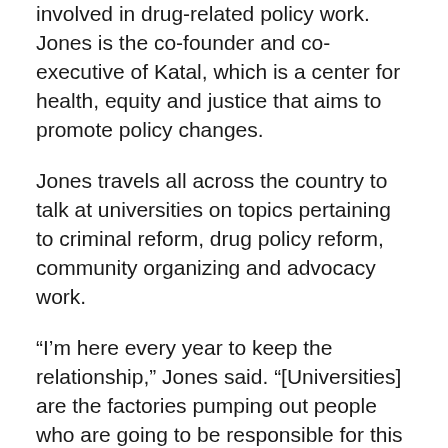involved in drug-related policy work. Jones is the co-founder and co-executive of Katal, which is a center for health, equity and justice that aims to promote policy changes.
Jones travels all across the country to talk at universities on topics pertaining to criminal reform, drug policy reform, community organizing and advocacy work.
“I’m here every year to keep the relationship,” Jones said. “[Universities] are the factories pumping out people who are going to be responsible for this work for the next 30 years.”
Jones focuses heavily on grassroots campaigning with college-age students specifically because he feels they have the most energy and passion to promote real change in their communities.
“Grassroot organizations are extremely important to